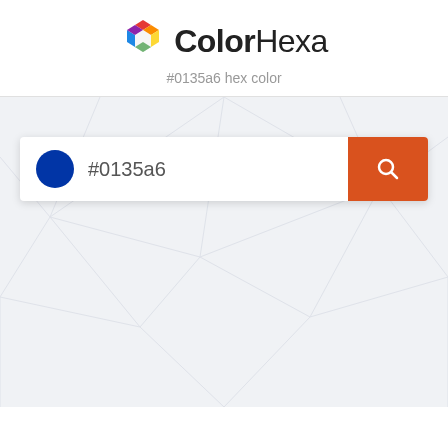[Figure (logo): ColorHexa hexagonal rainbow logo icon followed by the text ColorHexa in bold/regular weight]
ColorHexa
#0135a6 hex color
[Figure (screenshot): Search bar with blue circle color swatch showing #0135a6, text field with '#0135a6', and an orange-red search button with magnifying glass icon, on a light grey geometric background]